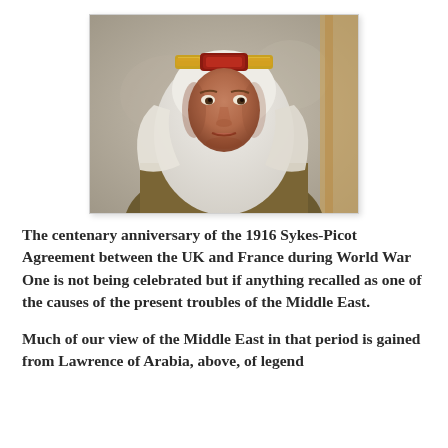[Figure (photo): Portrait painting of Lawrence of Arabia wearing white keffiyeh and gold headband, dressed in traditional Arab robes, with a neutral expression against a grey-beige background.]
The centenary anniversary of the 1916 Sykes-Picot Agreement between the UK and France during World War One is not being celebrated but if anything recalled as one of the causes of the present troubles of the Middle East.
Much of our view of the Middle East in that period is gained from Lawrence of Arabia, above, of legend